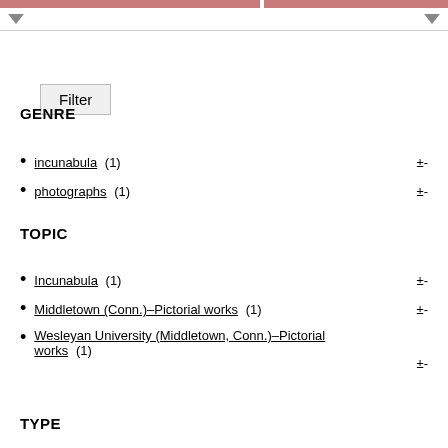[Figure (screenshot): Top navigation bar with two pinkish-red segments and dropdown arrows]
Filter
GENRE
incunabula (1)
photographs (1)
TOPIC
Incunabula (1)
Middletown (Conn.)–Pictorial works (1)
Wesleyan University (Middletown, Conn.)–Pictorial works (1)
TYPE